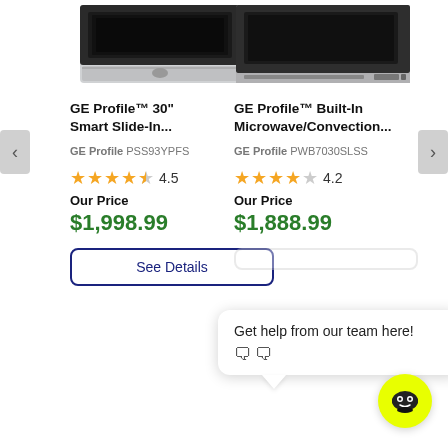[Figure (photo): GE Profile 30 inch Smart Slide-In appliance product image, stainless steel]
GE Profile™ 30" Smart Slide-In...
GE Profile PSS93YPFS
4.5 stars rating
Our Price
$1,998.99
See Details
[Figure (photo): GE Profile Built-In Microwave/Convection appliance product image]
GE Profile™ Built-In Microwave/Convection...
GE Profile PWB7030SLSS
4.2 stars rating
Our Price
$1,888.99
Get help from our team here! 🗨🗨